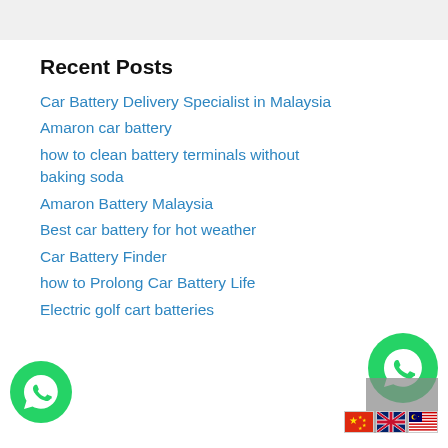Recent Posts
Car Battery Delivery Specialist in Malaysia
Amaron car battery
how to clean battery terminals without baking soda
Amaron Battery Malaysia
Best car battery for hot weather
Car Battery Finder
how to Prolong Car Battery Life
Electric golf cart batteries